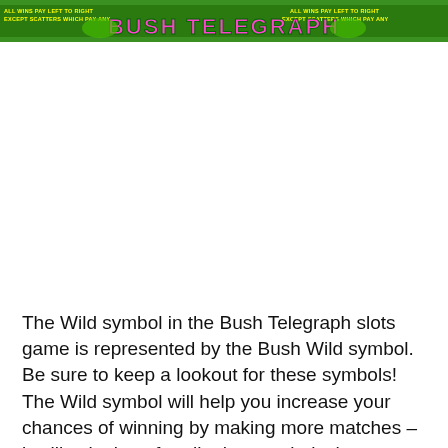[Figure (screenshot): Banner image for Bush Telegraph slots game with green jungle theme, pink and yellow text reading 'BUSH TELEGRAPH', with text 'ALL WINS PAY LEFT TO RIGHT EXCEPT SCATTERS WHICH PAY ANY' on both sides]
The Wild symbol in the Bush Telegraph slots game is represented by the Bush Wild symbol. Be sure to keep a lookout for these symbols! The Wild symbol will help you increase your chances of winning by making more matches – it will substitute for all other symbols that appear on the slots reels except for scattering symbols.